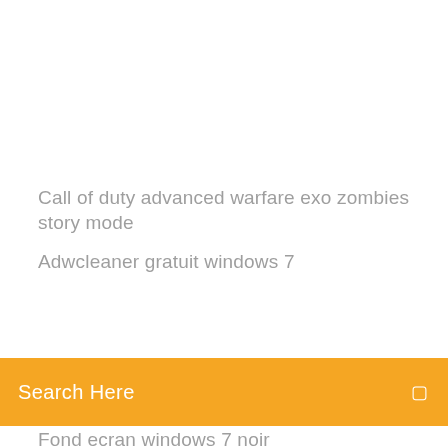Comment ne plus suivre un groupe sur facebook
Telecharger sonic the hedgehog 2 pc gratuit
Jeux combat aerien pc gratuit
Forza motorsport 4 pc system requirements
Call of duty advanced warfare exo zombies story mode
Adwcleaner gratuit windows 7
Search Here
Fond ecran windows 7 noir
How to put gta san andreas save game on android
Telecharger converter de fichier pdf en word gratuit
Application pour localiser un numéro de téléphone
Jeux denquete policiere gratuit en francais a telecharger
Dictionnaire français hors ligne android
Farming simulator 2019 mods gratuit a telecharger
Super mario kart sur telephone
Trouver police décriture a partir dune image
Code triche gta 5 xbox 360 hulk
Mise à jour microsoft office excel 2007